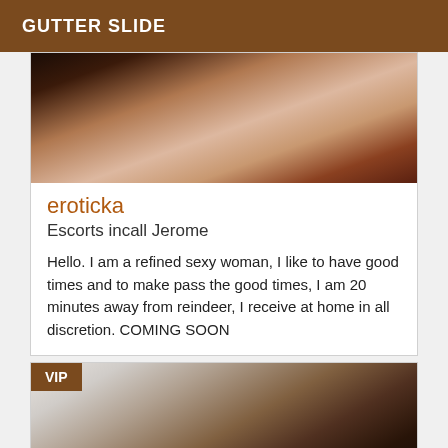GUTTER SLIDE
[Figure (photo): Close-up photo showing skin and dark reddish-brown hair]
eroticka
Escorts incall Jerome
Hello. I am a refined sexy woman, I like to have good times and to make pass the good times, I am 20 minutes away from reindeer, I receive at home in all discretion. COMING SOON
[Figure (photo): Photo of a young woman with long dark hair in an indoor setting, VIP badge overlay]